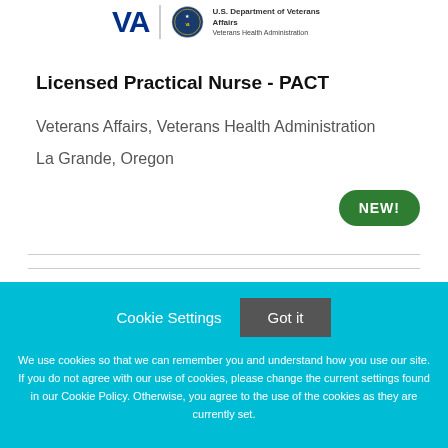[Figure (logo): VA (Veterans Affairs) logo with seal and 'Veterans Health Administration' text]
Licensed Practical Nurse - PACT
Veterans Affairs, Veterans Health Administration
La Grande, Oregon
NEW!
Cookie Settings  Got it
We use cookies so that we can remember you and understand how you use our site. If you do not agree with our use of cookies, please change the current settings found in our Cookie Policy. Otherwise, you agree to the use of the cookies as they are currently set.